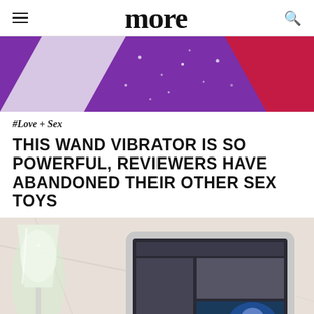more
[Figure (photo): Purple and red diagonal banner image with sparkles/dots on a purple background]
#Love + Sex
THIS WAND VIBRATOR IS SO POWERFUL, REVIEWERS HAVE ABANDONED THEIR OTHER SEX TOYS
[Figure (photo): Photo of a glass of white wine champagne and a tablet/iPad on a marble surface]